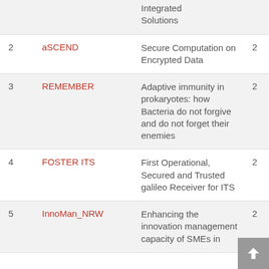| # | Acronym | Title | Year |
| --- | --- | --- | --- |
|  |  | Integrated Solutions |  |
| 2 | aSCEND | Secure Computation on Encrypted Data | 20 |
| 3 | REMEMBER | Adaptive immunity in prokaryotes: how Bacteria do not forgive and do not forget their enemies | 20 |
| 4 | FOSTER ITS | First Operational, Secured and Trusted galileo Receiver for ITS | 20 |
| 5 | InnoMan_NRW | Enhancing the innovation management capacity of SMEs in | 20 |